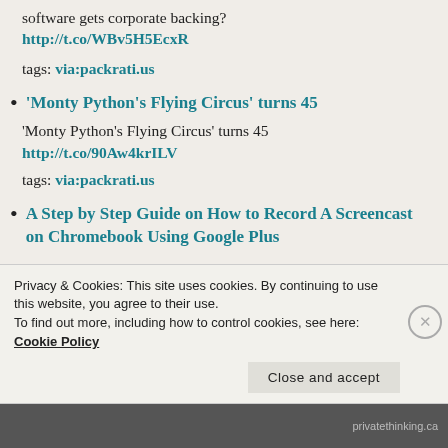software gets corporate backing? http://t.co/WBv5H5EcxR
tags: via:packrati.us
'Monty Python’s Flying Circus’ turns 45
'Monty Python’s Flying Circus’ turns 45 http://t.co/90Aw4krILV
tags: via:packrati.us
A Step by Step Guide on How to Record A Screencast on Chromebook Using Google Plus
Privacy & Cookies: This site uses cookies. By continuing to use this website, you agree to their use. To find out more, including how to control cookies, see here: Cookie Policy
Close and accept